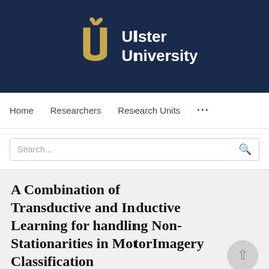[Figure (logo): Ulster University logo on dark navy blue background — a golden stylized U letter with a small bird/leaf on top, beside white bold text 'Ulster University']
Home   Researchers   Research Units   ...
Search...
A Combination of Transductive and Inductive Learning for handling Non-Stationarities in MotorImagery Classification